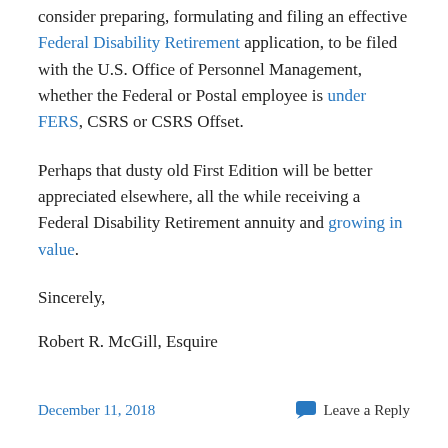consider preparing, formulating and filing an effective Federal Disability Retirement application, to be filed with the U.S. Office of Personnel Management, whether the Federal or Postal employee is under FERS, CSRS or CSRS Offset.
Perhaps that dusty old First Edition will be better appreciated elsewhere, all the while receiving a Federal Disability Retirement annuity and growing in value.
Sincerely,
Robert R. McGill, Esquire
December 11, 2018   Leave a Reply